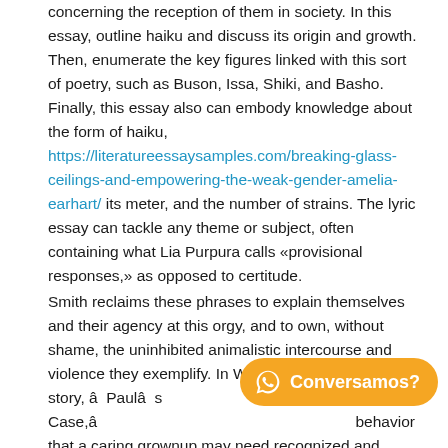concerning the reception of them in society. In this essay, outline haiku and discuss its origin and growth. Then, enumerate the key figures linked with this sort of poetry, such as Buson, Issa, Shiki, and Basho. Finally, this essay also can embody knowledge about the form of haiku, https://literatureessaysamples.com/breaking-glass-ceilings-and-empowering-the-weak-gender-amelia-earhart/ its meter, and the number of strains. The lyric essay can tackle any theme or subject, often containing what Lia Purpura calls «provisional responses,» as opposed to certitude.
Smith reclaims these phrases to explain themselves and their agency at this orgy, and to own, without shame, the uninhibited animalistic intercourse and violence they exemplify. In Willa Catherâ s short story, â Paulâ s Case,â behavior that a caring grownup may need recognized and remedied had that grownup had the scientific